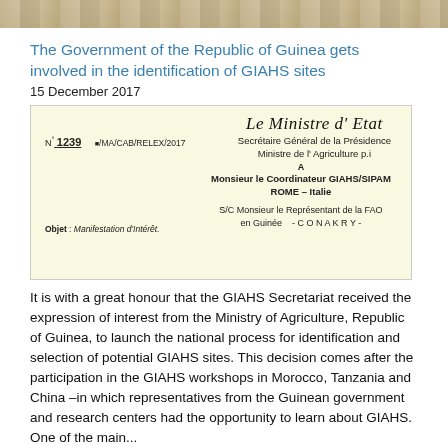[Figure (photo): Partial top strip photo showing landscape/terrain]
The Government of the Republic of Guinea gets involved in the identification of GIAHS sites
15 December 2017
[Figure (photo): Scanned letter on cream/yellow paper from Le Ministre d'Etat, Secrétaire Général de la Présidence, Ministre de l'Agriculture p.i, N° 1239 MA/CAB/RELEX/2017, addressed to Monsieur le Coordinateur GIAHS/SIPAM ROME - Italie, S/C Monsieur le Représentant de la FAO en Guinée - CONAKRY -, Objet: Manifestation d'Intérêt]
It is with a great honour that the GIAHS Secretariat received the expression of interest from the Ministry of Agriculture, Republic of Guinea, to launch the national process for identification and selection of potential GIAHS sites. This decision comes after the participation in the GIAHS workshops in Morocco, Tanzania and China –in which representatives from the Guinean government and research centers had the opportunity to learn about GIAHS. One of the main...
Osaki Kodo's Traditional Water Management System is newly